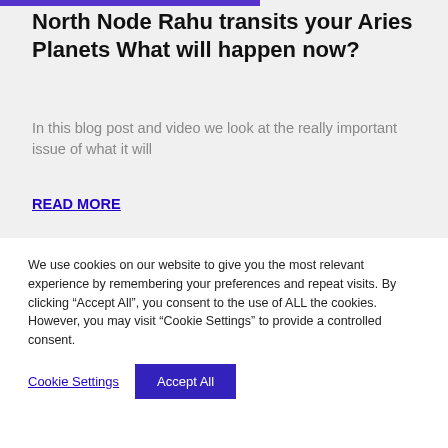North Node Rahu transits your Aries Planets What will happen now?
In this blog post and video we look at the really important issue of what it will
READ MORE
[Figure (photo): A painting or illustration of a woman in a period dress with off-shoulder ruffled gown, light brown hair, against a decorative background with gold and teal tones.]
We use cookies on our website to give you the most relevant experience by remembering your preferences and repeat visits. By clicking “Accept All”, you consent to the use of ALL the cookies. However, you may visit “Cookie Settings” to provide a controlled consent.
Cookie Settings
Accept All